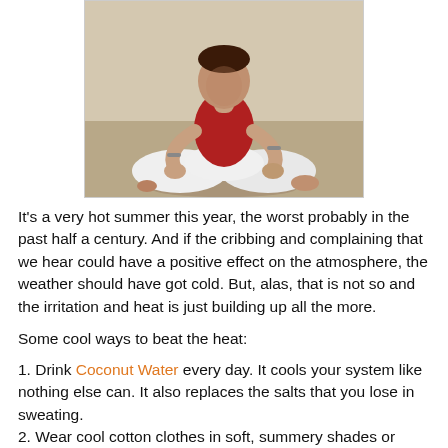[Figure (photo): A person seated cross-legged in a meditation/yoga pose, wearing a red top and white pants, hands resting on knees.]
It's a very hot summer this year, the worst probably in the past half a century. And if the cribbing and complaining that we hear could have a positive effect on the atmosphere, the weather should have got cold. But, alas, that is not so and the irritation and heat is just building up all the more.
Some cool ways to beat the heat:
1. Drink Coconut Water every day. It cools your system like nothing else can. It also replaces the salts that you lose in sweating.
2. Wear cool cotton clothes in soft, summery shades or white as they absorb the least heat. Avoid dark colours, especially black, as they absorb the sun rays and burn your skin.
3. Use glares to protect your eyes from the harmful rays of